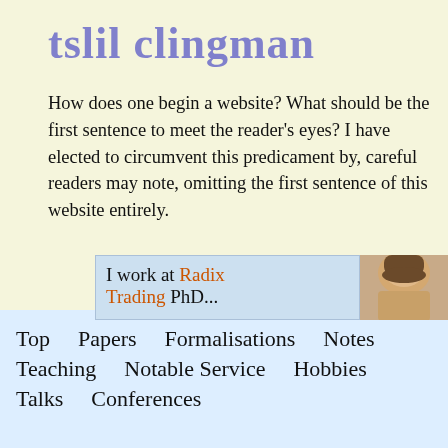tslil clingman
How does one begin a website? What should be the first sentence to meet the reader's eyes? I have elected to circumvent this predicament by, careful readers may note, omitting the first sentence of this website entirely.
I work at Radix Trading ...
[Figure (photo): Partial photo of a person's head against a beige/tan background]
Top
Papers
Formalisations
Notes
Teaching
Notable Service
Hobbies
Talks
Conferences